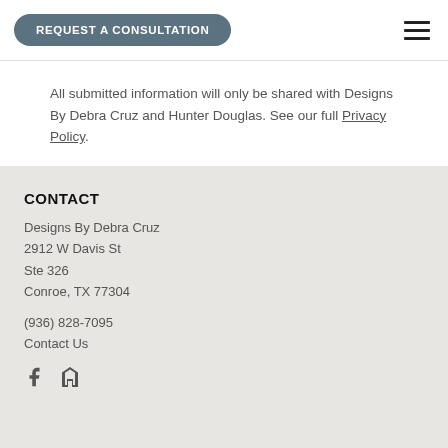REQUEST A CONSULTATION
All submitted information will only be shared with Designs By Debra Cruz and Hunter Douglas. See our full Privacy Policy.
CONTACT
Designs By Debra Cruz
2912 W Davis St
Ste 326
Conroe, TX 77304
(936) 828-7095
Contact Us
[Figure (logo): Facebook and Houzz social media icons]